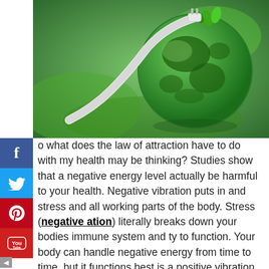[Figure (photo): Green Earth globe with a white electrical plug inserted into it, symbolizing clean energy, set against a green blurred background.]
o what does the law of attraction have to do with my health may be thinking? Studies show that a negative energy level actually be harmful to your health. Negative vibration puts in and stress and all working parts of the body. Stress (negative ation) literally breaks down your bodies immune system and ty to function. Your body can handle negative energy from time to time, but it functions best is a positive vibration. Think of it this way, positive means to grow and flourish, negative mean to decay and rot. Thats the best way I can put it. You can eat health and exercise perfectly all you want, but if you are in a negative vibration, then all the rest is doing little to no good. This is also why you can be in a positive vibration and eat a little worse. There is a balance, much like a weight scale. The only difference is that too